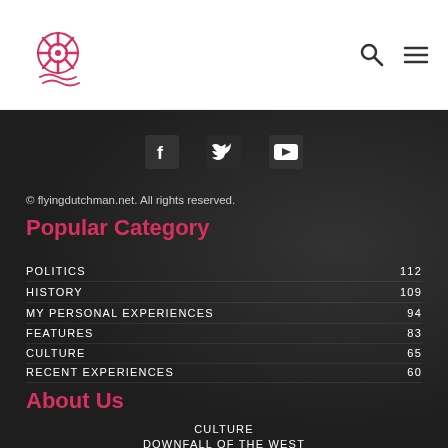[Figure (logo): Flying Dutchman nautical ship wheel logo in pink/red on white background]
[Figure (other): Search icon (magnifying glass) and hamburger menu icon in top right header]
[Figure (other): Social media icons: Facebook (f), Twitter (bird), YouTube (play button) in white on dark background]
© flyingdutchman.net. All rights reserved.
Popular Category
POLITICS 112
HISTORY 109
MY PERSONAL EXPERIENCES 94
FEATURES 83
CULTURE 65
RECENT EXPERIENCES 60
About Us
CULTURE
DOWNFALL OF THE WEST